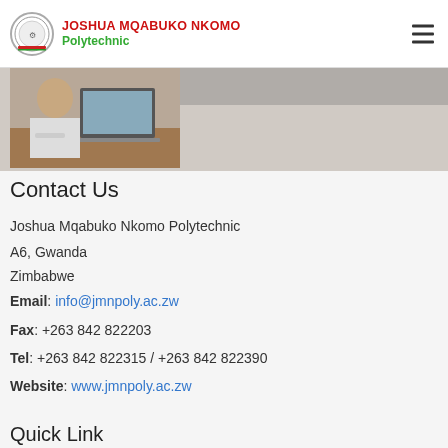JOSHUA MQABUKO NKOMO Polytechnic
[Figure (photo): Person working at a laptop on a desk, header banner image]
Contact Us
Joshua Mqabuko Nkomo Polytechnic
A6, Gwanda
Zimbabwe
Email: info@jmnpoly.ac.zw
Fax: +263 842 822203
Tel: +263 842 822315 / +263 842 822390
Website: www.jmnpoly.ac.zw
Quick Link